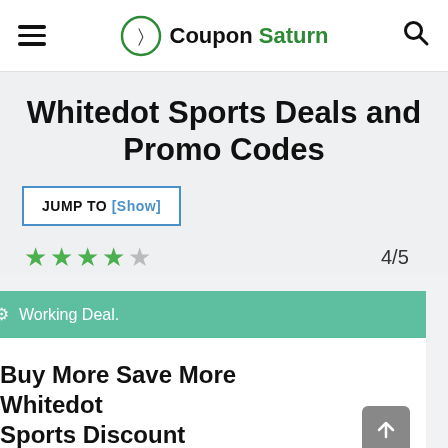Coupon Saturn — navigation header with hamburger menu, logo, and search icon
Whitedot Sports Deals and Promo Codes
JUMP TO [Show]
★★★★☆ 4/5
⚙ Working Deal.
Buy More Save More Whitedot Sports Discount